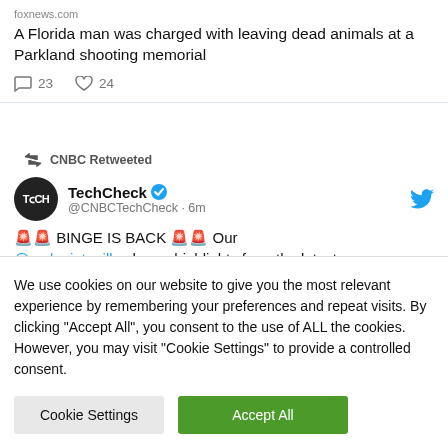foxnews.com
A Florida man was charged with leaving dead animals at a Parkland shooting memorial
23  24
CNBC Retweeted
TechCheck @CNBCTechCheck · 6m
🚨🚨 BINGE IS BACK 🚨🚨 Our @carlquintanilla shares highlights from the latest installment in his digital series, sitting down with
We use cookies on our website to give you the most relevant experience by remembering your preferences and repeat visits. By clicking "Accept All", you consent to the use of ALL the cookies. However, you may visit "Cookie Settings" to provide a controlled consent.
Cookie Settings
Accept All